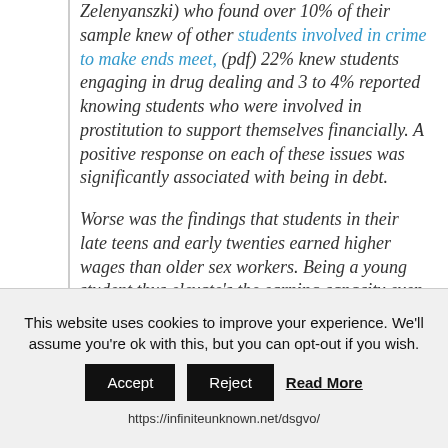Zelenyanszki) who found over 10% of their sample knew of other students involved in crime to make ends meet, (pdf) 22% knew students engaging in drug dealing and 3 to 4% reported knowing students who were involved in prostitution to support themselves financially. A positive response on each of these issues was significantly associated with being in debt.

Worse was the findings that students in their late teens and early twenties earned higher wages than older sex workers. Being a young student thus elevate's the earning capacity even more. The average age of the female student in the
This website uses cookies to improve your experience. We'll assume you're ok with this, but you can opt-out if you wish.
Accept  Reject  Read More
https://infiniteunknown.net/dsgvo/